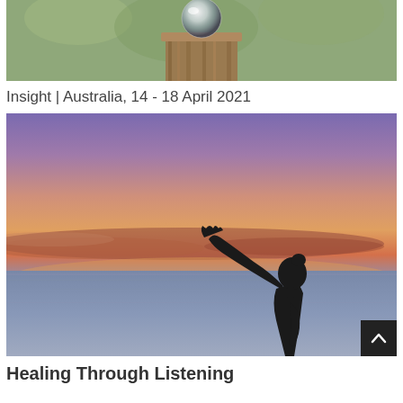[Figure (photo): Close-up photo of a glass sphere balanced on top of a weathered wooden post, with a blurred green outdoor background.]
Insight | Australia, 14 - 18 April 2021
[Figure (photo): Silhouette of a woman reaching upward with one arm against a dramatic sunset sky with purple, orange, and pink hues over a calm body of water.]
Healing Through Listening